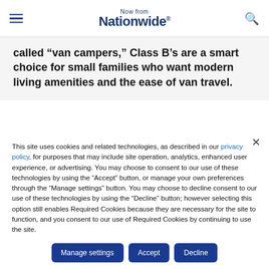Now from Nationwide®
called “van campers,” Class B’s are a smart choice for small families who want modern living amenities and the ease of van travel.
This site uses cookies and related technologies, as described in our privacy policy, for purposes that may include site operation, analytics, enhanced user experience, or advertising. You may choose to consent to our use of these technologies by using the “Accept” button, or manage your own preferences through the “Manage settings” button. You may choose to decline consent to our use of these technologies by using the “Decline” button; however selecting this option still enables Required Cookies because they are necessary for the site to function, and you consent to our use of Required Cookies by continuing to use the site.